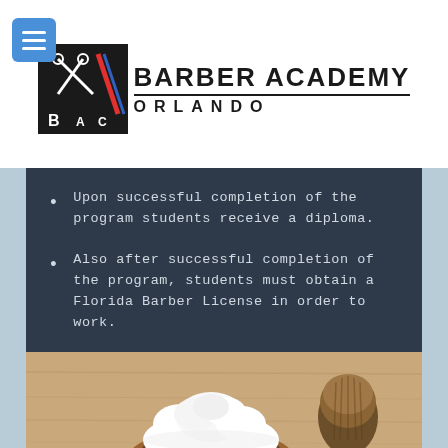BARBER ACADEMY ORLANDO
Upon successful completion of the program students receive a diploma.
Also after successful completion of the program, students must obtain a Florida Barber License in order to work.
[Figure (photo): Photo of a wooden bowl filled with white shaving cream foam and a shaving brush with a wooden handle, placed on a white towel against a light wood background.]